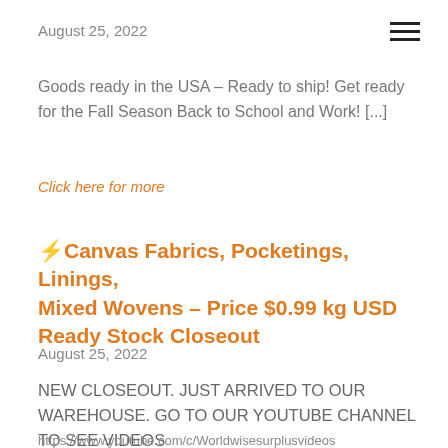August 25, 2022
Goods ready in the USA – Ready to ship! Get ready for the Fall Season Back to School and Work! [...]
Click here for more
⚡Canvas Fabrics, Pocketings, Linings, Mixed Wovens – Price $0.99 kg USD Ready Stock Closeout
August 25, 2022
NEW CLOSEOUT. JUST ARRIVED TO OUR WAREHOUSE. GO TO OUR YOUTUBE CHANNEL TO SEE VIDEOS
https://www.youtube.com/c/Worldwisesurplusvideos